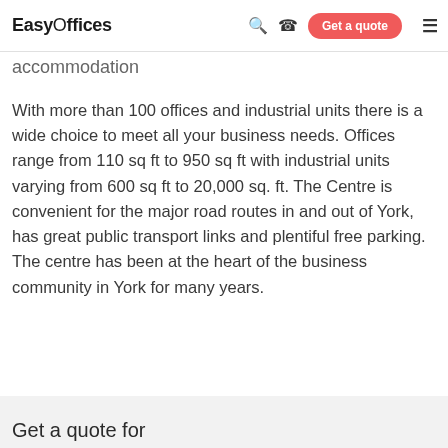EasyOffices | Search | Phone | Get a quote | Menu
accommodation
With more than 100 offices and industrial units there is a wide choice to meet all your business needs. Offices range from 110 sq ft to 950 sq ft with industrial units varying from 600 sq ft to 20,000 sq. ft. The Centre is convenient for the major road routes in and out of York, has great public transport links and plentiful free parking. The centre has been at the heart of the business community in York for many years.
Get a quote for